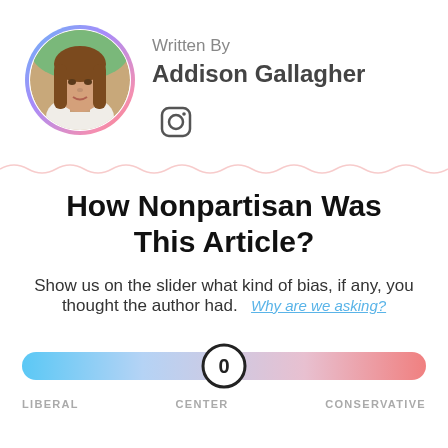[Figure (photo): Circular portrait photo of Addison Gallagher with a gradient border (blue to pink), showing a young woman with long brown hair]
Written By
Addison Gallagher
[Figure (illustration): Instagram icon (camera outline symbol)]
[Figure (illustration): Wavy pink/red decorative divider line]
How Nonpartisan Was This Article?
Show us on the slider what kind of bias, if any, you thought the author had.
Why are we asking?
[Figure (infographic): Political bias slider ranging from LIBERAL (blue, left) to CENTER (0, white thumb) to CONSERVATIVE (pink/red, right). Slider handle is positioned at center showing 0.]
LIBERAL
CENTER
CONSERVATIVE